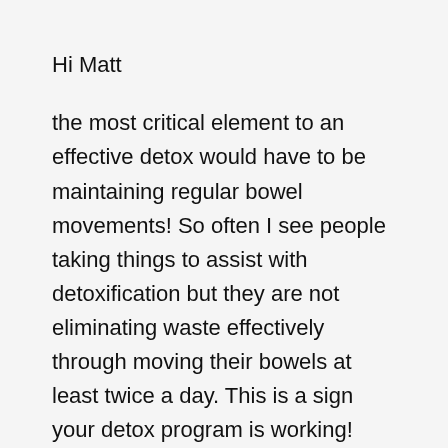Hi Matt
the most critical element to an effective detox would have to be maintaining regular bowel movements! So often I see people taking things to assist with detoxification but they are not eliminating waste effectively through moving their bowels at least twice a day. This is a sign your detox program is working! This is why I have chosen the nutritional products I have in my detox program as they work to regulate healthy bowel function